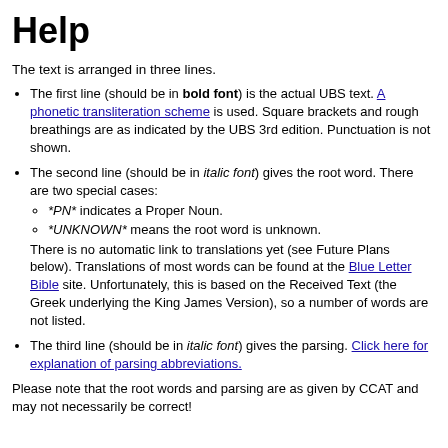Help
The text is arranged in three lines.
The first line (should be in bold font) is the actual UBS text. A phonetic transliteration scheme is used. Square brackets and rough breathings are as indicated by the UBS 3rd edition. Punctuation is not shown.
The second line (should be in italic font) gives the root word. There are two special cases: *PN* indicates a Proper Noun. *UNKNOWN* means the root word is unknown. There is no automatic link to translations yet (see Future Plans below). Translations of most words can be found at the Blue Letter Bible site. Unfortunately, this is based on the Received Text (the Greek underlying the King James Version), so a number of words are not listed.
The third line (should be in italic font) gives the parsing. Click here for explanation of parsing abbreviations.
Please note that the root words and parsing are as given by CCAT and may not necessarily be correct!